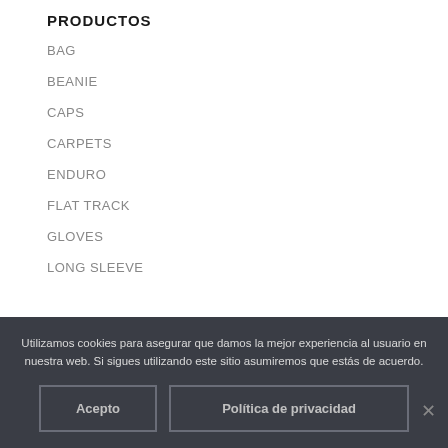PRODUCTOS
BAG
BEANIE
CAPS
CARPETS
ENDURO
FLAT TRACK
GLOVES
LONG SLEEVE
Utilizamos cookies para asegurar que damos la mejor experiencia al usuario en nuestra web. Si sigues utilizando este sitio asumiremos que estás de acuerdo.
Acepto
Política de privacidad